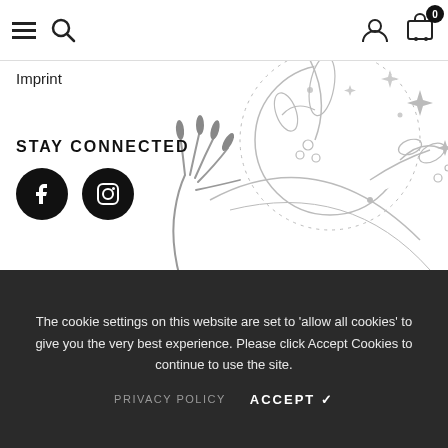≡ 🔍 [user icon] [cart 0]
Imprint
[Figure (illustration): Decorative line art illustration of a mystical hand with long nails reaching upward, surrounded by a crescent moon, leaves, botanicals, and sparkle/star motifs — drawn in gray outline style]
STAY CONNECTED
[Facebook icon] [Instagram icon]
SIGN UP FOR OUR NEWSLETTER
enter your email address [SUBMIT button]
The cookie settings on this website are set to 'allow all cookies' to give you the very best experience. Please click Accept Cookies to continue to use the site.
PRIVACY POLICY   ACCEPT ✓